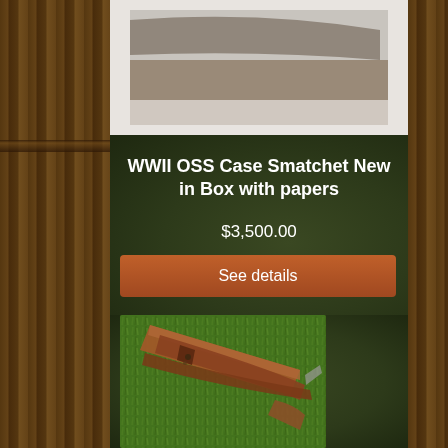[Figure (photo): Top portion of a product listing photo showing a smatchet or knife item, partially visible at the top of the page]
WWII OSS Case Smatchet New in Box with papers
$3,500.00
See details
[Figure (photo): Photo of a WWII OSS Case Smatchet with brown leather sheath, lying on green grass]